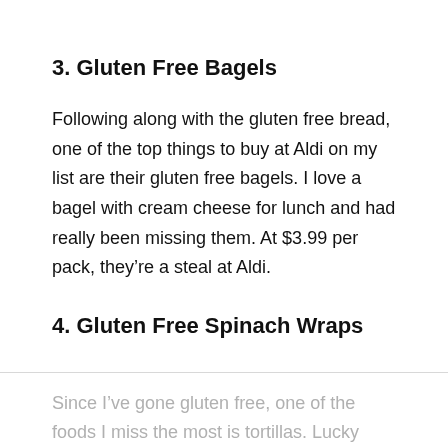3. Gluten Free Bagels
Following along with the gluten free bread, one of the top things to buy at Aldi on my list are their gluten free bagels. I love a bagel with cream cheese for lunch and had really been missing them. At $3.99 per pack, they’re a steal at Aldi.
4. Gluten Free Spinach Wraps
Since I’ve gone gluten free, one of the foods I miss the most is tortillas. Lucky